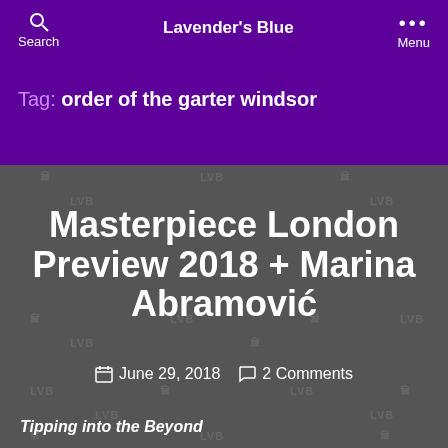Lavender's Blue
Tag: order of the garter windsor
Masterpiece London Preview 2018 + Marina Abramović
June 29, 2018   2 Comments
Tipping into the Beyond